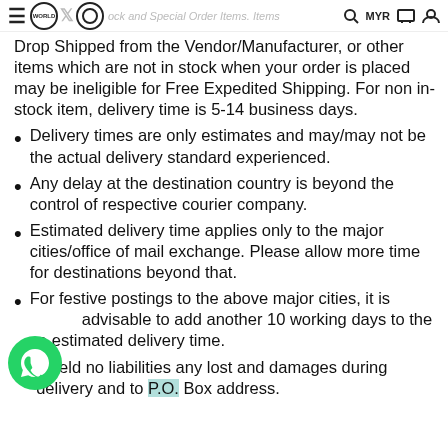WORLD [logo] x [logo] ock and Special Order Items. Items
Drop Shipped from the Vendor/Manufacturer, or other items which are not in stock when your order is placed may be ineligible for Free Expedited Shipping. For non in-stock item, delivery time is 5-14 business days.
Delivery times are only estimates and may/may not be the actual delivery standard experienced.
Any delay at the destination country is beyond the control of respective courier company.
Estimated delivery time applies only to the major cities/office of mail exchange. Please allow more time for destinations beyond that.
For festive postings to the above major cities, it is advisable to add another 10 working days to the ve estimated delivery time.
e held no liabilities any lost and damages during delivery and to P.O. Box address.